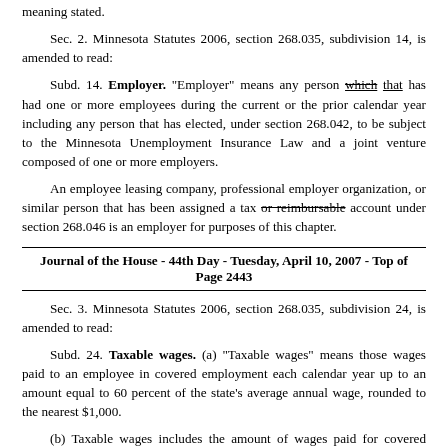meaning stated.
Sec. 2. Minnesota Statutes 2006, section 268.035, subdivision 14, is amended to read:
Subd. 14. Employer. "Employer" means any person which that has had one or more employees during the current or the prior calendar year including any person that has elected, under section 268.042, to be subject to the Minnesota Unemployment Insurance Law and a joint venture composed of one or more employers.
An employee leasing company, professional employer organization, or similar person that has been assigned a tax or reimbursable account under section 268.046 is an employer for purposes of this chapter.
Journal of the House - 44th Day - Tuesday, April 10, 2007 - Top of Page 2443
Sec. 3. Minnesota Statutes 2006, section 268.035, subdivision 24, is amended to read:
Subd. 24. Taxable wages. (a) "Taxable wages" means those wages paid to an employee in covered employment each calendar year up to an amount equal to 60 percent of the state's average annual wage, rounded to the nearest $1,000.
(b) Taxable wages includes the amount of wages paid for covered employment by the employer's predecessor when there has been an experience